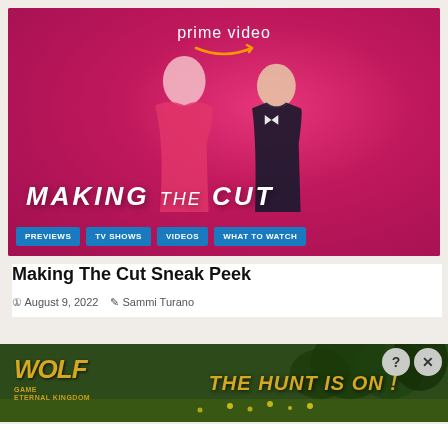[Figure (screenshot): Amazon Prime Video promotional image for 'Making The Cut' showing two people (a blonde woman in pink dress and a man in tuxedo) against a pink/magenta background with the Prime Video logo at top and show title 'MAKING THE CUT' at bottom. Navigation buttons: PREVIEWS, TV SHOWS, VIDEOS, WHAT TO WATCH.]
Making The Cut Sneak Peek
August 9, 2022  Sammi Turano
[Figure (screenshot): Advertisement banner for Wolf Game: Eternal Kingdom showing wolves in a meadow with text 'THE HUNT IS ON !' in gold letters on a forest background. Has infolinks badge, help button and close button.]